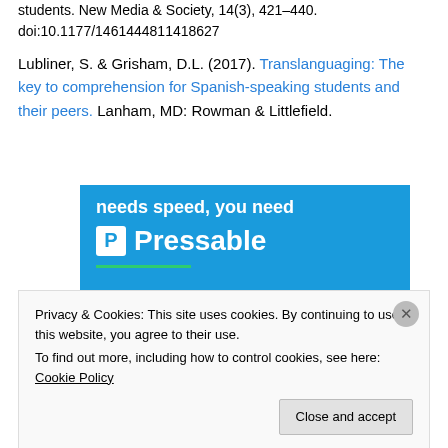students. New Media & Society, 14(3), 421–440. doi:10.1177/1461444811418627
Lubliner, S. & Grisham, D.L. (2017). Translanguaging: The key to comprehension for Spanish-speaking students and their peers. Lanham, MD: Rowman & Littlefield.
[Figure (other): Pressable advertisement banner showing 'needs speed, you need' text, Pressable logo with P icon, green underline, and a person running/leaping with a laptop on a blue background]
Privacy & Cookies: This site uses cookies. By continuing to use this website, you agree to their use.
To find out more, including how to control cookies, see here: Cookie Policy
Close and accept